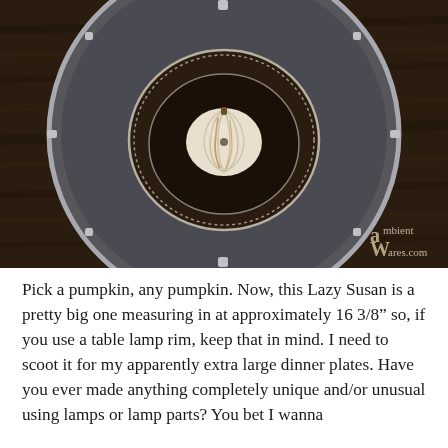[Figure (photo): Overhead top-down view of a small white/cream pumpkin sitting in a decorative silver beaded bowl, placed on a large round dark gray/charcoal Lazy Susan tray on a dark wood surface. The image has an 'ambientWares.com' watermark in the lower right corner.]
Pick a pumpkin, any pumpkin. Now, this Lazy Susan is a pretty big one measuring in at approximately 16 3/8" so, if you use a table lamp rim, keep that in mind. I need to scoot it for my apparently extra large dinner plates. Have you ever made anything completely unique and/or unusual using lamps or lamp parts? You bet I wanna